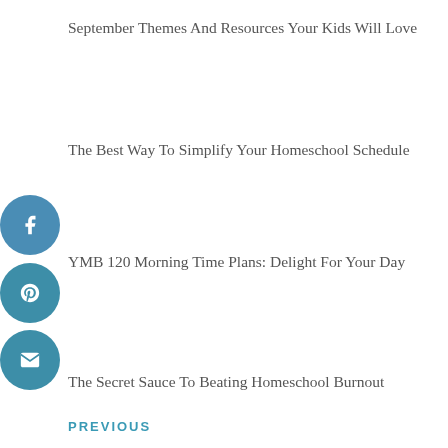September Themes And Resources Your Kids Will Love
The Best Way To Simplify Your Homeschool Schedule
YMB 120 Morning Time Plans: Delight For Your Day
The Secret Sauce To Beating Homeschool Burnout
PREVIOUS